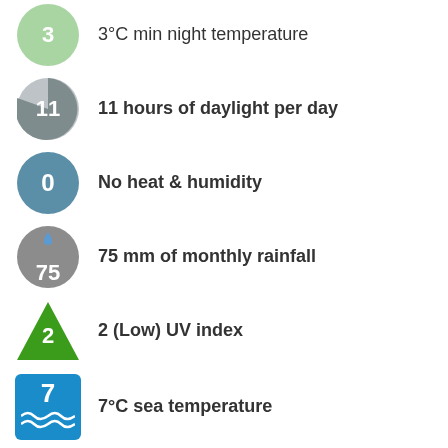3 — 3°C min night temperature
11 — 11 hours of daylight per day
0 — No heat & humidity
75 — 75 mm of monthly rainfall
2 — 2 (Low) UV index
7 — 7°C sea temperature
Below are average maximum temperatures at popular destinations in Turkey in February. Select a destination to see more weather parameters.
Weather2Travel.com uses cookies to ensure you have the best experience. By continuing to use this website, you the use of cookies. Read our Privacy & Cookies Policy info.
15